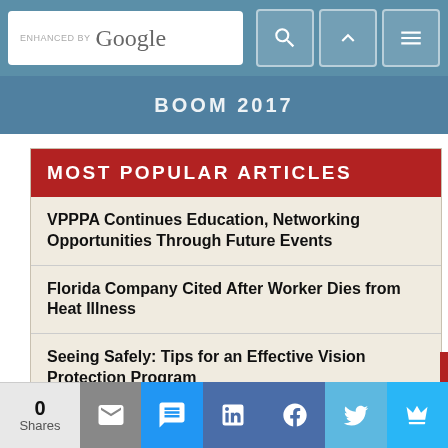ENHANCED BY Google [search bar with navigation icons]
[Figure (screenshot): Banner strip with text 'BOOM 2017']
MOST POPULAR ARTICLES
VPPPA Continues Education, Networking Opportunities Through Future Events
Florida Company Cited After Worker Dies from Heat Illness
Seeing Safely: Tips for an Effective Vision Protection Program
VPPPA Safety+ Symposium 2023 is Headed to Orlando, Florida
0 Shares [share buttons: mail, SMS, LinkedIn, Facebook, Twitter, crown]